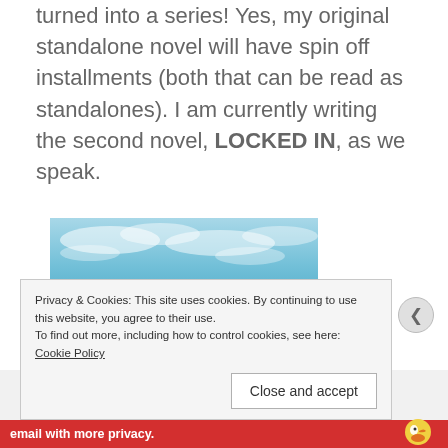turned into a series! Yes, my original standalone novel will have spin off installments (both that can be read as standalones). I am currently writing the second novel, LOCKED IN, as we speak.
[Figure (photo): A woman surfing or paddling on a surfboard in turquoise ocean waves, wearing a dark wetsuit, with blue sky and white clouds in the background.]
This not published here...
Privacy & Cookies: This site uses cookies. By continuing to use this website, you agree to their use.
To find out more, including how to control cookies, see here: Cookie Policy
Close and accept
email with more privacy.